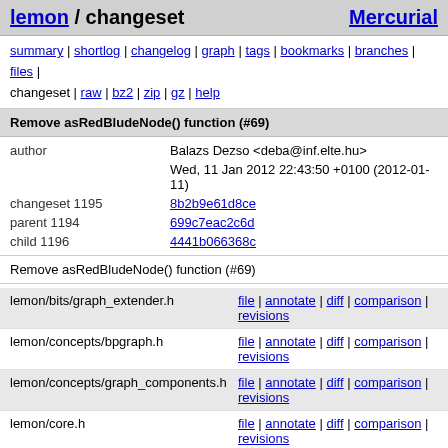lemon / changeset   Mercurial
summary | shortlog | changelog | graph | tags | bookmarks | branches | files | changeset | raw | bz2 | zip | gz | help
Remove asRedBludeNode() function (#69)
| author | Balazs Dezso <deba@inf.elte.hu> |  |
|  | Wed, 11 Jan 2012 22:43:50 +0100 (2012-01-11) |  |
| changeset 1195 | 8b2b9e61d8ce |  |
| parent 1194 | 699c7eac2c6d |  |
| child 1196 | 4441b066368c |  |
Remove asRedBludeNode() function (#69)
| File | Actions |
| --- | --- |
| lemon/bits/graph_extender.h | file | annotate | diff | comparison | revisions |
| lemon/concepts/bpgraph.h | file | annotate | diff | comparison | revisions |
| lemon/concepts/graph_components.h | file | annotate | diff | comparison | revisions |
| lemon/core.h | file | annotate | diff | comparison | revisions |
| test/graph_test.h | file | annotate | diff | comparison | revisions |